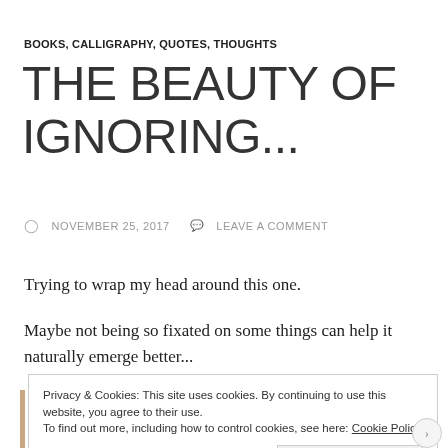BOOKS, CALLIGRAPHY, QUOTES, THOUGHTS
THE BEAUTY OF IGNORING...
NOVEMBER 25, 2017   LEAVE A COMMENT
Trying to wrap my head around this one.
Maybe not being so fixated on some things can help it naturally emerge better...
Privacy & Cookies: This site uses cookies. By continuing to use this website, you agree to their use.
To find out more, including how to control cookies, see here: Cookie Policy
Close and accept